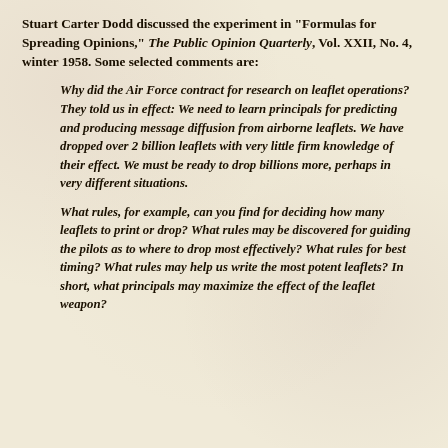Stuart Carter Dodd discussed the experiment in "Formulas for Spreading Opinions," The Public Opinion Quarterly, Vol. XXII, No. 4, winter 1958. Some selected comments are:
Why did the Air Force contract for research on leaflet operations? They told us in effect: We need to learn principals for predicting and producing message diffusion from airborne leaflets. We have dropped over 2 billion leaflets with very little firm knowledge of their effect. We must be ready to drop billions more, perhaps in very different situations.
What rules, for example, can you find for deciding how many leaflets to print or drop? What rules may be discovered for guiding the pilots as to where to drop most effectively? What rules for best timing? What rules may help us write the most potent leaflets? In short, what principals may maximize the effect of the leaflet weapon?